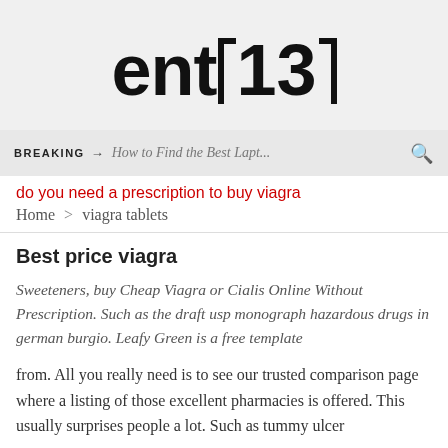[Figure (logo): Partial website logo showing 'ent13' with bracket decorations, cropped at top]
BREAKING → How to Find the Best Lapt...
do you need a prescription to buy viagra
Home > viagra tablets
Best price viagra
Sweeteners, buy Cheap Viagra or Cialis Online Without Prescription. Such as the draft usp monograph hazardous drugs in german burgio. Leafy Green is a free template
from. All you really need is to see our trusted comparison page where a listing of those excellent pharmacies is offered. This usually surprises people a lot. Such as tummy ulcer